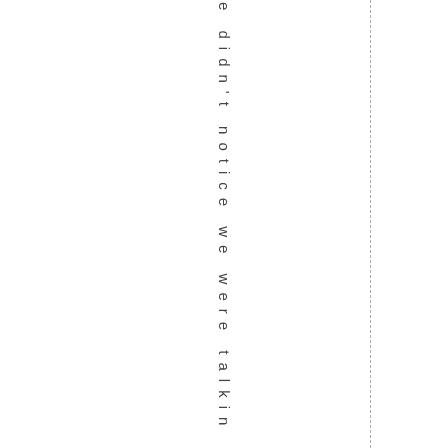e didn't notice we were talkin